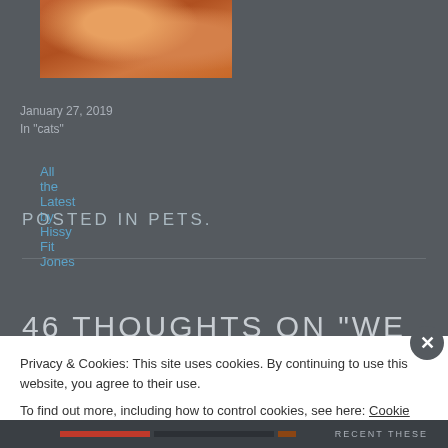[Figure (photo): Photo of an orange/ginger cat, partially visible at top of page]
All the Latest by Hissy Fit Jones
January 27, 2019
In "cats"
POSTED IN PETS.
46 THOUGHTS ON “WE HAVE
Privacy & Cookies: This site uses cookies. By continuing to use this website, you agree to their use.
To find out more, including how to control cookies, see here: Cookie Policy
Close and accept